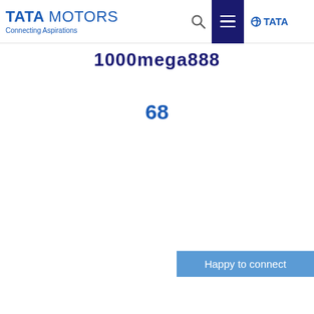TATA MOTORS Connecting Aspirations
1000mega888
68
[Figure (illustration): Multiple rows of blue diamond-shaped question mark icons filling the page body]
Happy to connect